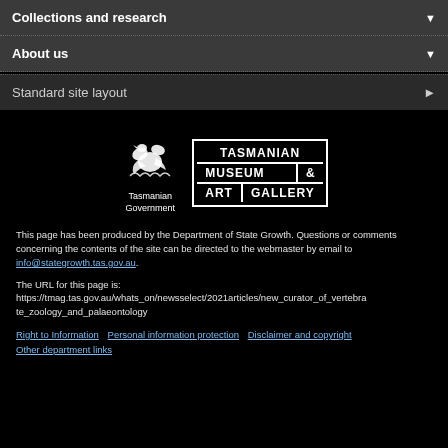Collections and research
About us
Standard site layout
[Figure (logo): Tasmanian Government logo with bird emblem and text 'Tasmanian Government', alongside Tasmanian Museum & Art Gallery logo in bordered grid layout]
This page has been produced by the Department of State Growth. Questions or comments concerning the contents of the site can be directed to the webmaster by email to info@stategrowth.tas.gov.au.
The URL for this page is:
https://tmag.tas.gov.au/whats_on/newsselect/2021articles/new_curator_of_vertebrate_zoology_and_palaeontology
Right to Information   Personal information protection   Disclaimer and copyright   Other department links